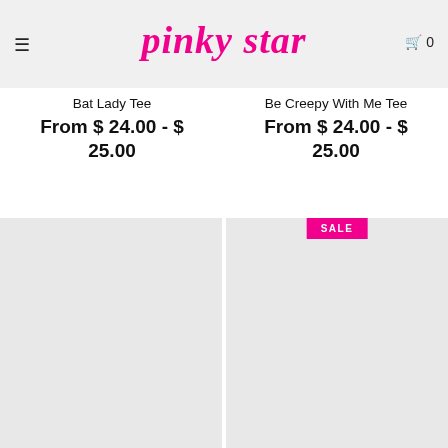pinky star — hamburger menu — cart 0
Bat Lady Tee
From $ 24.00 - $ 25.00
Be Creepy With Me Tee
From $ 24.00 - $ 25.00
[Figure (photo): Product image placeholder (light gray background)]
[Figure (photo): Product image placeholder with SALE badge (light gray background)]